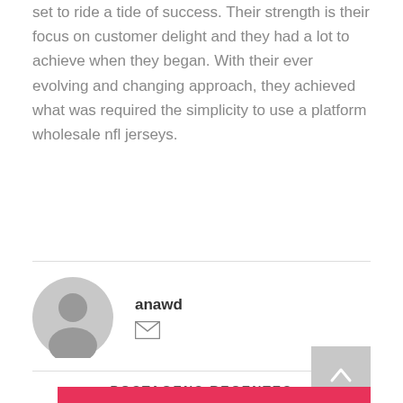set to ride a tide of success. Their strength is their focus on customer delight and they had a lot to achieve when they began. With their ever evolving and changing approach, they achieved what was required the simplicity to use a platform wholesale nfl jerseys.
[Figure (illustration): Circular user avatar placeholder in grey]
anawd
[Figure (illustration): Envelope/email icon]
POSTAGENS RECENTES
[Figure (illustration): Pink/crimson rectangular image block at bottom]